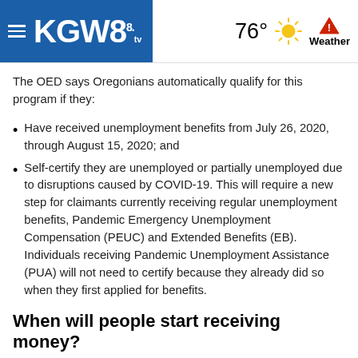KGW8 | 76° Weather
The OED says Oregonians automatically qualify for this program if they:
Have received unemployment benefits from July 26, 2020, through August 15, 2020; and
Self-certify they are unemployed or partially unemployed due to disruptions caused by COVID-19. This will require a new step for claimants currently receiving regular unemployment benefits, Pandemic Emergency Unemployment Compensation (PEUC) and Extended Benefits (EB). Individuals receiving Pandemic Unemployment Assistance (PUA) will not need to certify because they already did so when they first applied for benefits.
When will people start receiving money?